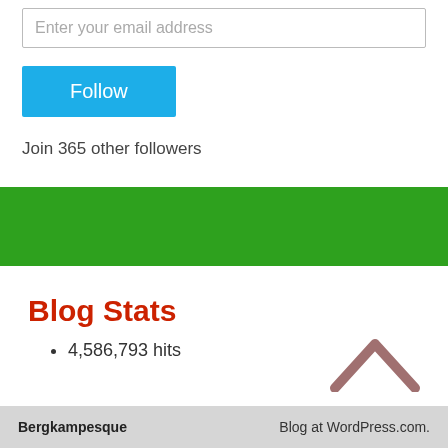Enter your email address
Follow
Join 365 other followers
Blog Stats
4,586,793 hits
Bergkampesque    Blog at WordPress.com.